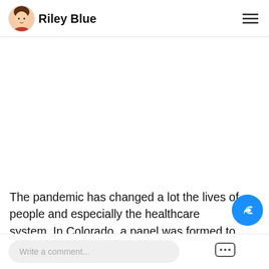Riley Blue
The pandemic has changed a lot the lives of people and especially the healthcare system. In Colorado, a panel was formed to discuss the future of